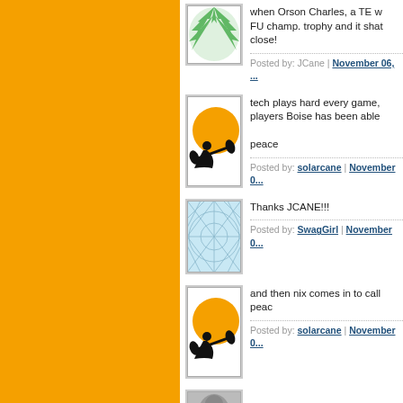[Figure (screenshot): Blog/forum comment thread with orange sidebar on left, user avatars, comment text, and posted-by metadata lines. Partial comments visible including text about Orson Charles, a kayaker avatar, a snow/ice map avatar, and another kayaker avatar.]
when Orson Charles, a TE w... FU champ. trophy and it shat... close!
Posted by: JCane | November 06, ...
tech plays hard every game, ... players Boise has been able ...

peace
Posted by: solarcane | November 0...
Thanks JCANE!!!
Posted by: SwagGirl | November 0...
and then nix comes in to call ... peac
Posted by: solarcane | November 0...